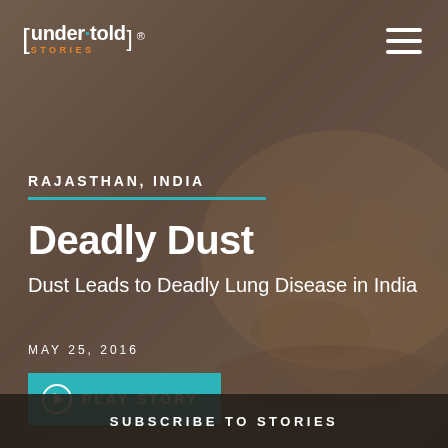[Figure (screenshot): Website screenshot of Under-told Stories showing article header for 'Deadly Dust' from Rajasthan, India with a background photo of dusty hands and a teal/dark overlay. Includes logo, hamburger menu, article title, subtitle, date, play button, and subscribe bar.]
[under·told] STORIES ®
RAJASTHAN, INDIA
Deadly Dust
Dust Leads to Deadly Lung Disease in India
MAY 25, 2016
PLAY STORY
SUBSCRIBE TO STORIES